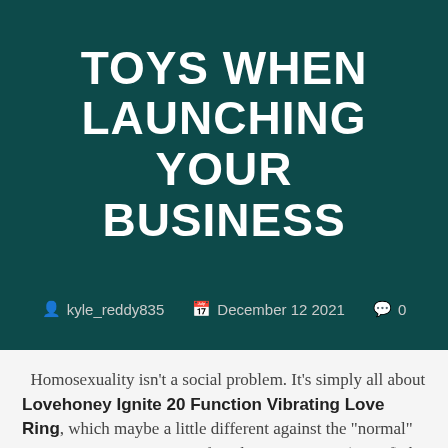TOYS WHEN LAUNCHING YOUR BUSINESS
kyle_reddy835   December 12 2021   0
Homosexuality isn't a social problem. It's simply all about Lovehoney Ignite 20 Function Vibrating Love Ring, which maybe a little different against the "normal" ones in your opinion. I confess the sex toys are (one of) the greatest inventions these days. They perfectly solve sexual problems between homosexual